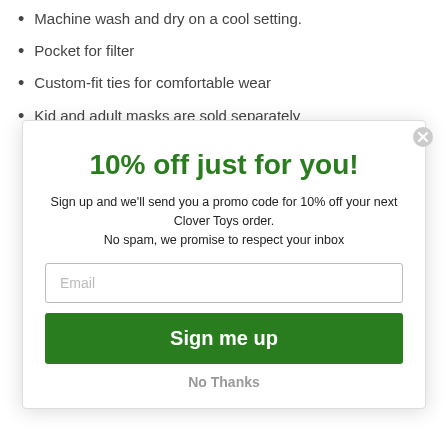Machine wash and dry on a cool setting.
Pocket for filter
Custom-fit ties for comfortable wear
Kid and adult masks are sold separately
10% off just for you!
Sign up and we'll send you a promo code for 10% off your next Clover Toys order.
No spam, we promise to respect your inbox
Email
Sign me up
No Thanks